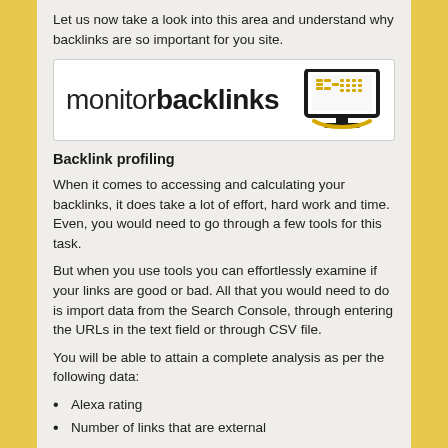Let us now take a look into this area and understand why backlinks are so important for you site.
[Figure (logo): Monitor Backlinks logo — text 'monitor backlinks' with a computer monitor icon featuring a yellow 'b' on screen]
Backlink profiling
When it comes to accessing and calculating your backlinks, it does take a lot of effort, hard work and time. Even, you would need to go through a few tools for this task.
But when you use tools you can effortlessly examine if your links are good or bad. All that you would need to do is import data from the Search Console, through entering the URLs in the text field or through CSV file.
You will be able to attain a complete analysis as per the following data:
Alexa rating
Number of links that are external